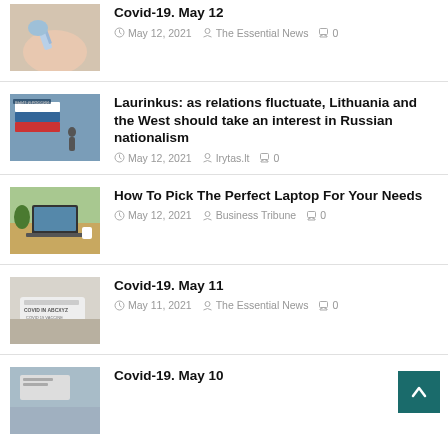Covid-19. May 12 · May 12, 2021 · The Essential News · 0
Laurinkus: as relations fluctuate, Lithuania and the West should take an interest in Russian nationalism · May 12, 2021 · Irytas.lt · 0
How To Pick The Perfect Laptop For Your Needs · May 12, 2021 · Business Tribune · 0
Covid-19. May 11 · May 11, 2021 · The Essential News · 0
Covid-19. May 10